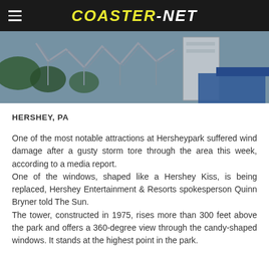COASTER-NET
[Figure (photo): Aerial/overhead photo of a rollercoaster and amusement park structures at Hersheypark, showing steel coaster tracks and park buildings from above.]
HERSHEY, PA
One of the most notable attractions at Hersheypark suffered wind damage after a gusty storm tore through the area this week, according to a media report.
One of the windows, shaped like a Hershey Kiss, is being replaced, Hershey Entertainment & Resorts spokesperson Quinn Bryner told The Sun.
The tower, constructed in 1975, rises more than 300 feet above the park and offers a 360-degree view through the candy-shaped windows. It stands at the highest point in the park.